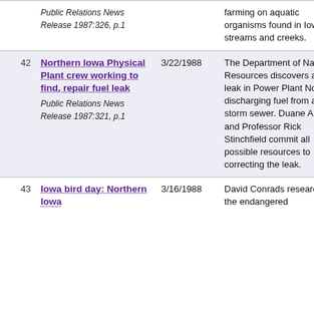| # | Title/Source | Date | Description |
| --- | --- | --- | --- |
|  | Public Relations News Release 1987:326, p.1 |  | farming on aquatic organisms found in Iowan streams and creeks. |
| 42 | Northern Iowa Physical Plant crew working to find, repair fuel leak
Public Relations News Release 1987:321, p.1 | 3/22/1988 | The Department of Natural Resources discovers an oil leak in Power Plant No. 2, discharging fuel from a storm sewer. Duane Anders and Professor Rick Stinchfield commit all possible resources to correcting the leak. |
| 43 | Iowa bird day: Northern Iowa | 3/16/1988 | David Conrads researches the endangered |